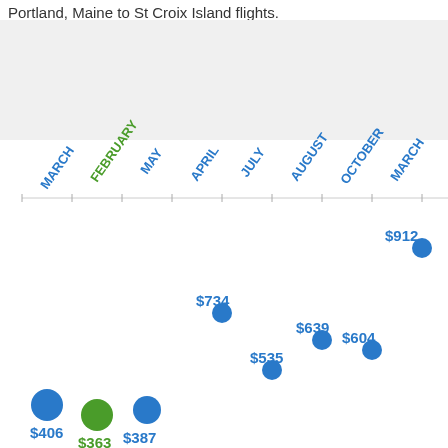Portland, Maine to St Croix Island flights.
[Figure (scatter-plot): Portland, Maine to St Croix Island flights]